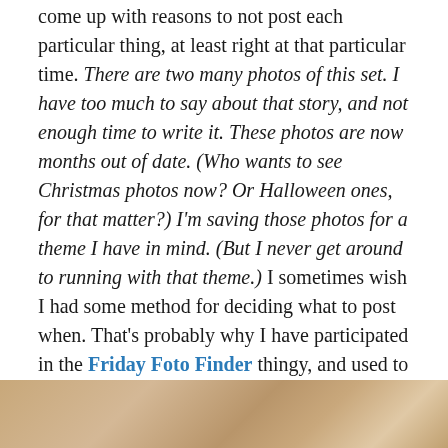come up with reasons to not post each particular thing, at least right at that particular time. There are two many photos of this set. I have too much to say about that story, and not enough time to write it. These photos are now months out of date. (Who wants to see Christmas photos now? Or Halloween ones, for that matter?) I'm saving those photos for a theme I have in mind. (But I never get around to running with that theme.) I sometimes wish I had some method for deciding what to post when. That's probably why I have participated in the Friday Foto Finder thingy, and used to love things like the Monday Missions¹ and other group blogging activities. For that matter, this is why I kept up the Themed Things Thursday for so long. Such bits of structure make it feel a bit like there is a reason for my rhyme. (Or a rhyme to my reason?)
[Figure (photo): Partial view of a wooden surface, warm orange-brown tones, bottom of page]